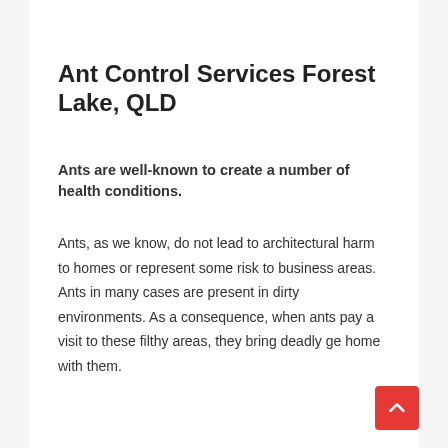Ant Control Services Forest Lake, QLD
Ants are well-known to create a number of health conditions.
Ants, as we know, do not lead to architectural harm to homes or represent some risk to business areas. Ants in many cases are present in dirty environments. As a consequence, when ants pay a visit to these filthy areas, they bring deadly ge home with them.